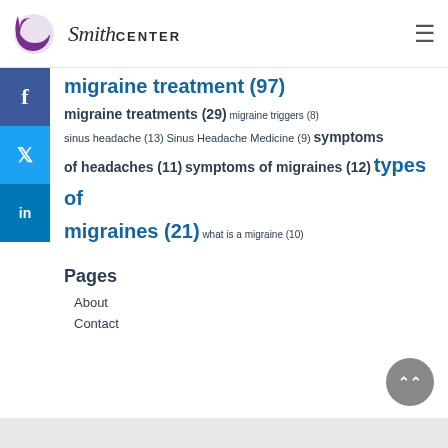[Figure (logo): Smith Center logo with purple crescent icon and script/sans-serif text]
migraine treatment (97) migraine treatments (29) migraine triggers (8) sinus headache (13) Sinus Headache Medicine (9) symptoms of headaches (11) symptoms of migraines (12) types of migraines (21) what is a migraine (10)
Pages
About
Contact